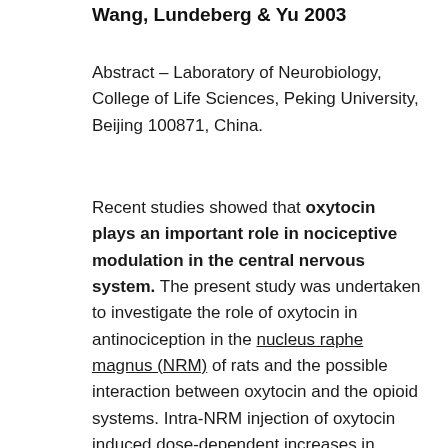Wang, Lundeberg & Yu 2003
Abstract – Laboratory of Neurobiology, College of Life Sciences, Peking University, Beijing 100871, China.
Recent studies showed that oxytocin plays an important role in nociceptive modulation in the central nervous system. The present study was undertaken to investigate the role of oxytocin in antinociception in the nucleus raphe magnus (NRM) of rats and the possible interaction between oxytocin and the opioid systems. Intra-NRM injection of oxytocin induced dose-dependent increases in hindpaw withdrawal latencies (HWLs) to noxious thermal and mechanical stimulation in rats. The antinociceptive effect of oxytocin was significantly attenuated by subsequent intra-NRM injection of the